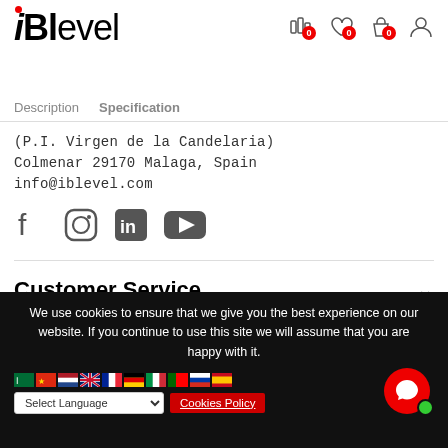[Figure (logo): iBLevel logo with red dot above the i]
[Figure (infographic): Navigation icons: bar chart with badge 0, heart with badge 0, shopping bag with badge 0, user profile]
Description   Specification
(P.I. Virgen de la Candelaria)
Colmenar 29170 Malaga, Spain
info@iblevel.com
[Figure (infographic): Social media icons: Facebook, Instagram, LinkedIn, YouTube]
Customer Service
We use cookies to ensure that we give you the best experience on our website. If you continue to use this site we will assume that you are happy with it.
[Figure (infographic): Country flag icons row and Select Language dropdown]
Cookies Policy